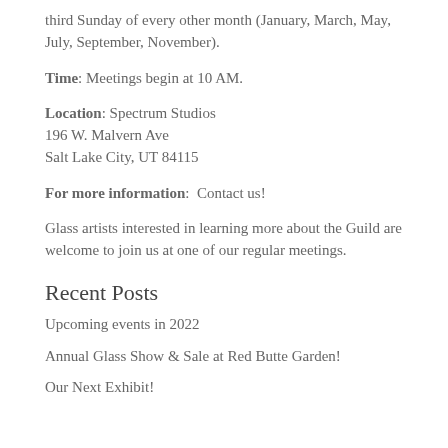third Sunday of every other month (January, March, May, July, September, November).
Time: Meetings begin at 10 AM.
Location: Spectrum Studios
196 W. Malvern Ave
Salt Lake City, UT 84115
For more information:  Contact us!
Glass artists interested in learning more about the Guild are welcome to join us at one of our regular meetings.
Recent Posts
Upcoming events in 2022
Annual Glass Show & Sale at Red Butte Garden!
Our Next Exhibit!